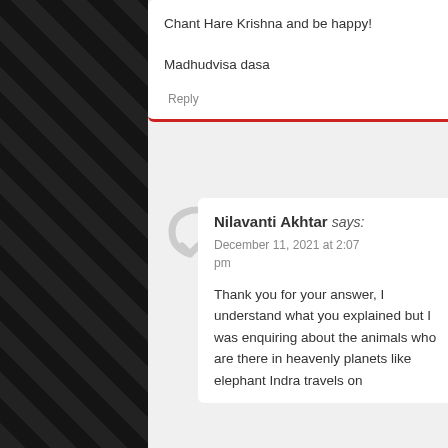Chant Hare Krishna and be happy!

Madhudvisa dasa
Reply
Nilavanti Akhtar says:
December 11, 2021 at 2:07 pm
Thank you for your answer, I understand what you explained but I was enquiring about the animals who are there in heavenly planets like elephant Indra travels on